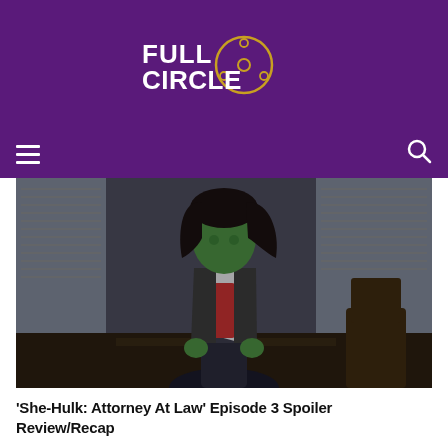Full Circle (logo)
[Figure (photo): She-Hulk character (green-skinned woman in a dark blazer and white top) standing in a courtroom setting with windows and chairs visible in the background]
'She-Hulk: Attorney At Law' Episode 3 Spoiler Review/Recap